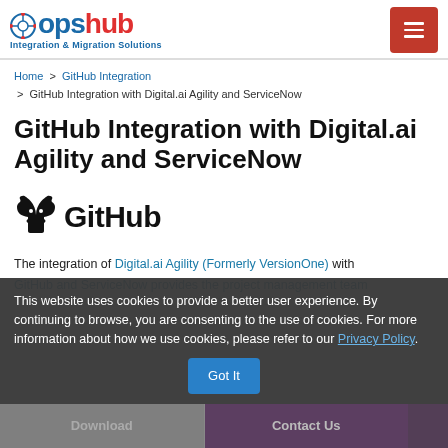opshub Integration & Migration Solutions
Home > GitHub Integration > GitHub Integration with Digital.ai Agility and ServiceNow
GitHub Integration with Digital.ai Agility and ServiceNow
[Figure (logo): GitHub logo — cat icon with 'GitHub' wordmark in black]
The integration of Digital.ai Agility (Formerly VersionOne) with GitHub and ServiceNow provides the project management team
This website uses cookies to provide a better user experience. By continuing to browse, you are consenting to the use of cookies. For more information about how we use cookies, please refer to our Privacy Policy.